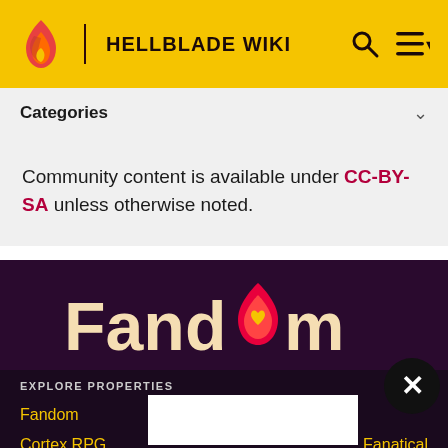HELLBLADE WIKI
Categories
Community content is available under CC-BY-SA unless otherwise noted.
[Figure (logo): Fandom logo with flame icon and heart, white/cream text on dark purple background]
EXPLORE PROPERTIES
Fandom
Cortex RPG
Muthead
Fanatical